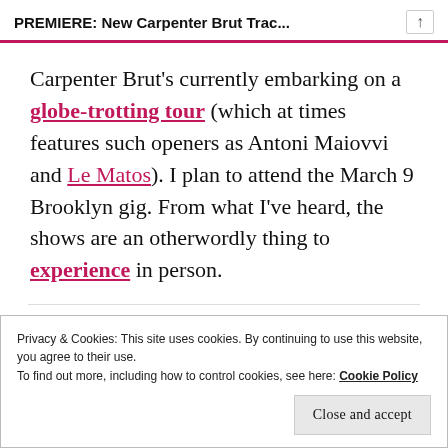PREMIERE: New Carpenter Brut Trac...
Carpenter Brut's currently embarking on a globe-trotting tour (which at times features such openers as Antoni Maiovvi and Le Matos). I plan to attend the March 9 Brooklyn gig. From what I've heard, the shows are an otherwordly thing to experience in person.
Read more about College, Electric Youth, and Miami
Privacy & Cookies: This site uses cookies. By continuing to use this website, you agree to their use.
To find out more, including how to control cookies, see here: Cookie Policy
Close and accept